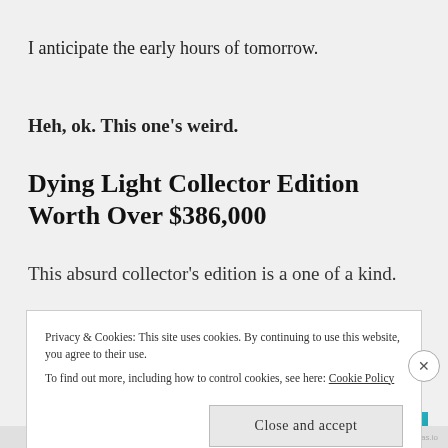I anticipate the early hours of tomorrow.
Heh, ok. This one’s weird.
Dying Light Collector Edition Worth Over $386,000
This absurd collector’s edition is a one of a kind.
Privacy & Cookies: This site uses cookies. By continuing to use this website, you agree to their use.
To find out more, including how to control cookies, see here: Cookie Policy
Close and accept